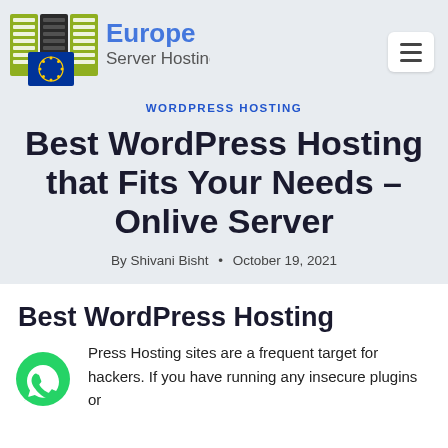[Figure (logo): Europe Server Hosting logo with server rack icons and EU flag emblem]
WORDPRESS HOSTING
Best WordPress Hosting that Fits Your Needs – Onlive Server
By Shivani Bisht • October 19, 2021
Best WordPress Hosting
[Figure (illustration): WhatsApp green chat bubble icon]
Press Hosting sites are a frequent target for hackers. If you have running any insecure plugins or